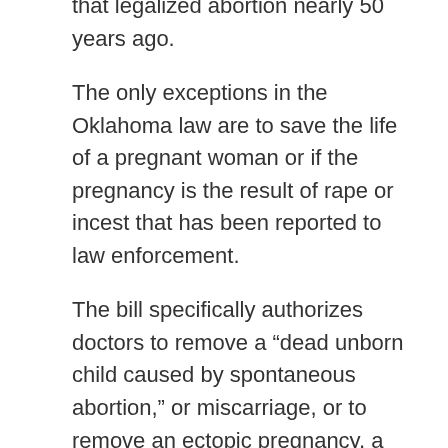that legalized abortion nearly 50 years ago.
The only exceptions in the Oklahoma law are to save the life of a pregnant woman or if the pregnancy is the result of rape or incest that has been reported to law enforcement.
The bill specifically authorizes doctors to remove a “dead unborn child caused by spontaneous abortion,” or miscarriage, or to remove an ectopic pregnancy, a potentially life-threatening emergency that occurs when a fertilized egg implants outside the uterus, often in a fallopian tube and early in pregnancy.
The law also does not apply to the use of morning-after pills such as Plan B or any type of contraception.